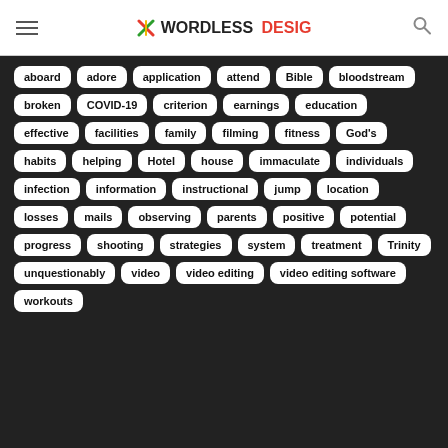WORDLESS DESIG
aboard
adore
application
attend
Bible
bloodstream
broken
COVID-19
criterion
earnings
education
effective
facilities
family
filming
fitness
God's
habits
helping
Hotel
house
immaculate
individuals
infection
information
instructional
jump
location
losses
mails
observing
parents
positive
potential
progress
shooting
strategies
system
treatment
Trinity
unquestionably
video
video editing
video editing software
workouts